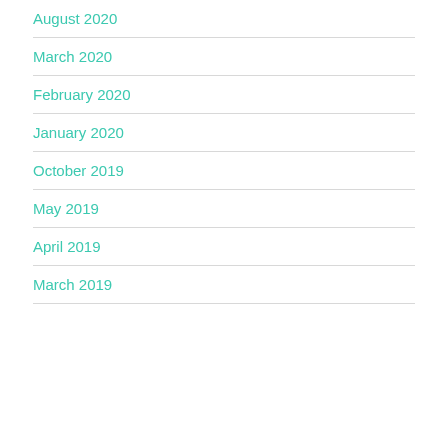August 2020
March 2020
February 2020
January 2020
October 2019
May 2019
April 2019
March 2019